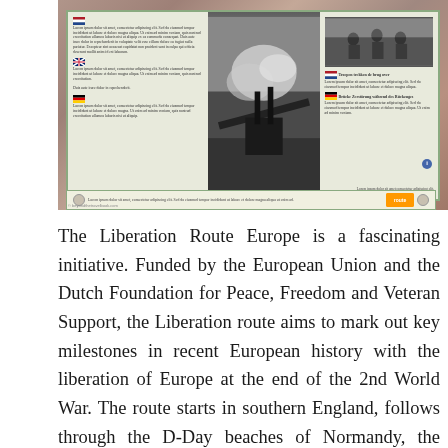[Figure (photo): A historical information panel/placard about the Liberation Route Europe, showing black and white photographs of WWII scenes including soldiers and a damaged bridge, with multilingual text columns, mounted on what appears to be a granite or stone surface. The panel has a light green/cream background with flag icons (Netherlands, UK, Germany) marking different language sections.]
The Liberation Route Europe is a fascinating initiative. Funded by the European Union and the Dutch Foundation for Peace, Freedom and Veteran Support, the Liberation route aims to mark out key milestones in recent European history with the liberation of Europe at the end of the 2nd World War. The route starts in southern England, follows through the D-Day beaches of Normandy, the Belgian Ardennes and the southern region of the Netherlands. The route then moves through Germany to Berlin and ends in the Polish city of